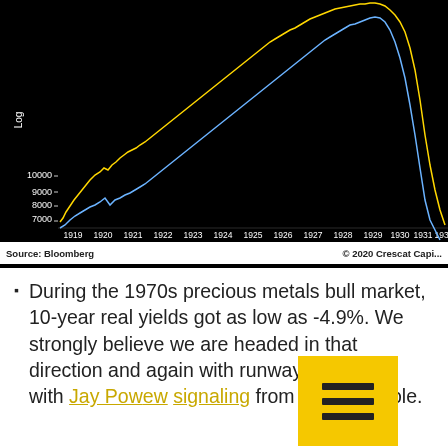[Figure (continuous-plot): Black background financial time series chart showing two lines (yellow and blue) from approximately 1919 to 1932+. Both lines trend upward from ~7000-10000 range, peak in the mid-1920s to late 1920s at higher values off-chart, then sharply decline. Y-axis labeled 'Log' with values 7000, 8000, 9000, 10000. X-axis shows years 1919 through 1932.]
Source: Bloomberg   © 2020 Crescat Capi...
During the 1970s precious metals bull market, 10-year real yields got as low as -4.9%. We strongly believe we are headed in that direction and again with runway, especially with Jay Powell's new signaling from Jackson Hole.